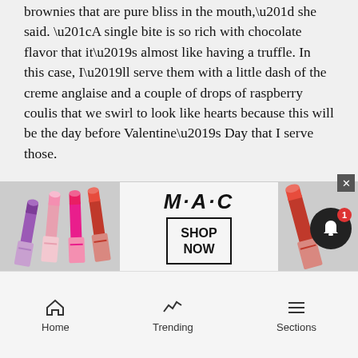brownies that are pure bliss in the mouth,” she said. “A single bite is so rich with chocolate flavor that it’s almost like having a truffle. In this case, I’ll serve them with a little dash of the creme anglaise and a couple of drops of raspberry coulis that we swirl to look like hearts because this will be the day before Valentine’s Day that I serve those.
“It’s a touch of romance to a really dense, chocolate morsel, free to the guests in honor of Valentine’s Day. I hope they love these flavors and want to try them at home. At high altitude, there’s nothing like having a dessert recipe that actually works.”
INTERNATIONAL AUDIENCE
Rost s… and
[Figure (other): MAC cosmetics advertisement showing lipsticks in purple, pink, and red with MAC logo and SHOP NOW button]
Home   Trending   Sections